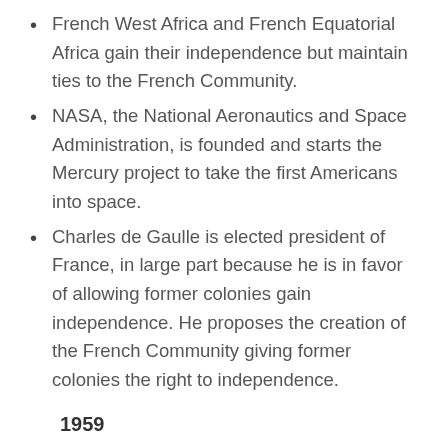French West Africa and French Equatorial Africa gain their independence but maintain ties to the French Community.
NASA, the National Aeronautics and Space Administration, is founded and starts the Mercury project to take the first Americans into space.
Charles de Gaulle is elected president of France, in large part because he is in favor of allowing former colonies gain independence. He proposes the creation of the French Community giving former colonies the right to independence.
1959
Fidel Castro installs the first communist regime in the Western Hemisphere. The